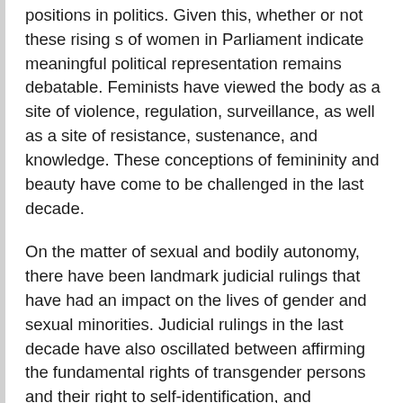positions in politics. Given this, whether or not these rising s of women in Parliament indicate meaningful political representation remains debatable. Feminists have viewed the body as a site of violence, regulation, surveillance, as well as a site of resistance, sustenance, and knowledge. These conceptions of femininity and beauty have come to be challenged in the last decade.
On the matter of sexual and bodily autonomy, there have been landmark judicial rulings that have had an impact on the lives of gender and sexual minorities. Judicial rulings in the last decade have also oscillated between affirming the fundamental rights of transgender persons and their right to self-identification, and reimposing state-led scrutiny on and policing them through the recent Transgender Rights Act, Education is the key to social transformation.
It inspires curiosity, imparts knowledge about social and scientific phenomena, as well as the history of students' diverse embedded contexts, and provides them with tools to solve complex challenges towards achieving equity. Early Bahujan feminists such as Savtribai Phule recognised this transformative power and struggled against discriminatory